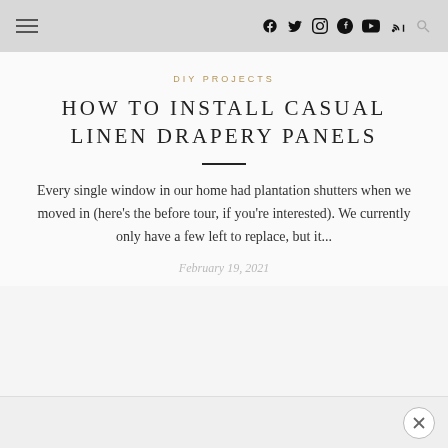≡  f  𝕏  ◎  𝐩  ▶  ⌂  🔍
DIY PROJECTS
HOW TO INSTALL CASUAL LINEN DRAPERY PANELS
Every single window in our home had plantation shutters when we moved in (here's the before tour, if you're interested). We currently only have a few left to replace, but it...
February 19, 2021